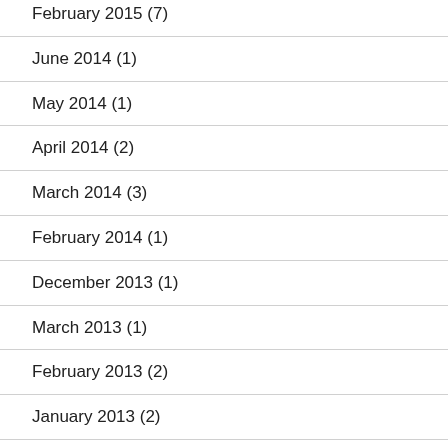February 2015 (7)
June 2014 (1)
May 2014 (1)
April 2014 (2)
March 2014 (3)
February 2014 (1)
December 2013 (1)
March 2013 (1)
February 2013 (2)
January 2013 (2)
December 2012 (4)
November 2012 (1)